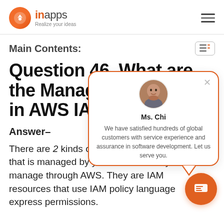inapps — Realize your ideas
Main Contents:
Question 46. What are the Managed Policies in AWS IAM?
Answer-
There are 2 kinds of managed policies that is managed by you and one that you manage through AWS. They are IAM resources that use IAM policy language to express permissions.
[Figure (other): Chat popup with avatar of Ms. Chi and message: We have satisfied hundreds of global customers with service experience and assurance in software development. Let us serve you.]